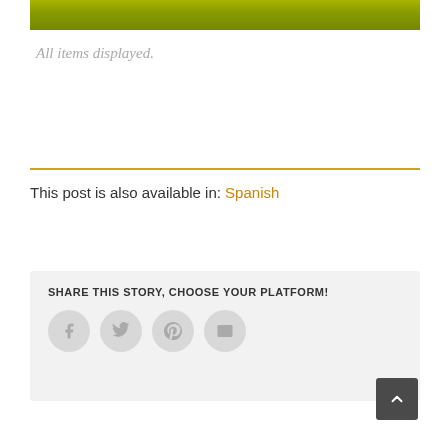[Figure (photo): Bottom strip of a photograph showing yellow-green textured objects against a black background]
All items displayed.
This post is also available in: Spanish
SHARE THIS STORY, CHOOSE YOUR PLATFORM!